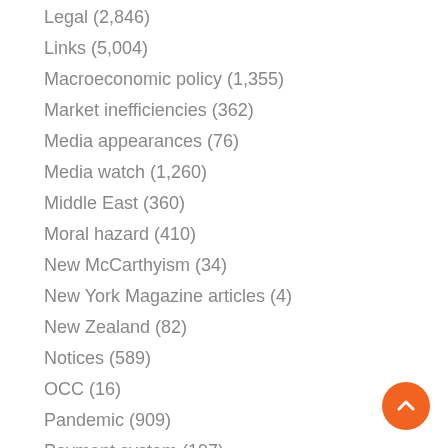Legal (2,846)
Links (5,004)
Macroeconomic policy (1,355)
Market inefficiencies (362)
Media appearances (76)
Media watch (1,260)
Middle East (360)
Moral hazard (410)
New McCarthyism (34)
New York Magazine articles (4)
New Zealand (82)
Notices (589)
OCC (16)
Pandemic (909)
Payment system (197)
Permaculture (100)
Politics (8,436)